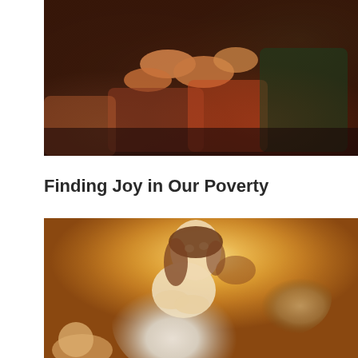[Figure (illustration): Detail of a classical painting showing feet and hands with richly colored garments — reds, oranges, greens and dark tones. A foot-washing or devotional scene.]
Finding Joy in Our Poverty
[Figure (illustration): Classical painting of the Virgin Mary (or a female saint) looking upward with hands crossed over chest, dressed in white robes, with a glowing golden/amber background. A cherub or child figure is partially visible at the lower left.]